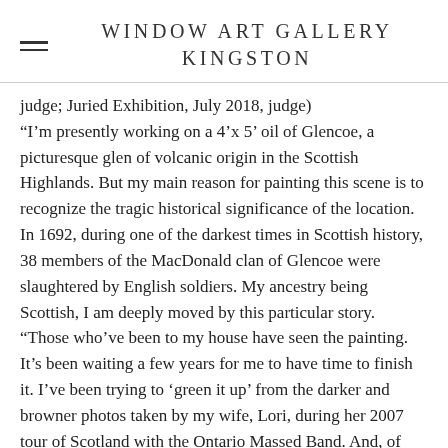WINDOW ART GALLERY KINGSTON
judge; Juried Exhibition, July 2018, judge)
“I’m presently working on a 4’x 5’ oil of Glencoe, a picturesque glen of volcanic origin in the Scottish Highlands. But my main reason for painting this scene is to recognize the tragic historical significance of the location. In 1692, during one of the darkest times in Scottish history, 38 members of the MacDonald clan of Glencoe were slaughtered by English soldiers. My ancestry being Scottish, I am deeply moved by this particular story.
“Those who’ve been to my house have seen the painting. It’s been waiting a few years for me to have time to finish it. I’ve been trying to ‘green it up’ from the darker and browner photos taken by my wife, Lori, during her 2007 tour of Scotland with the Ontario Massed Band. And, of course, I’m adding more heather! I’ve also decided to introduce patches of